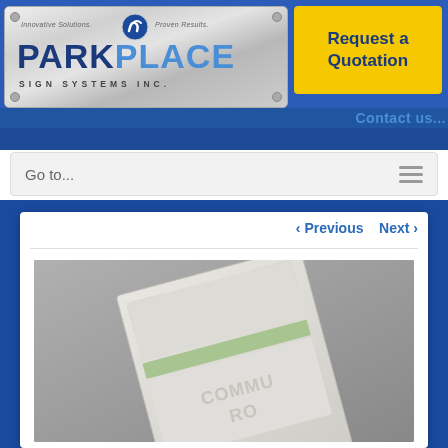[Figure (logo): Park Place Sign Systems Inc. logo on metallic silver plate background with tagline 'Innovative Solutions. Proven Results.']
Request a Quotation
Contact us...
Go to...
‹ Previous   Next ›
[Figure (photo): 3D rendering of a room sign/plaque reading 'COMMUNITY ROOM' with beige and green accents on a gray background]